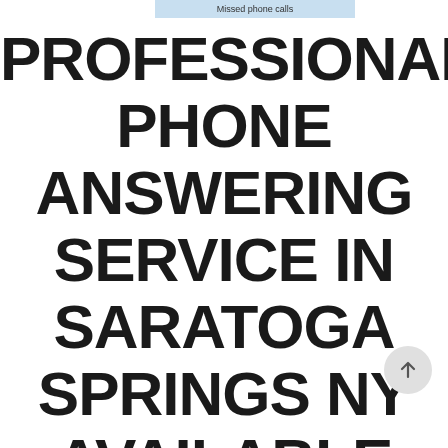Missed phone calls
PROFESSIONAL PHONE ANSWERING SERVICE IN SARATOGA SPRINGS NY AVAILABLE